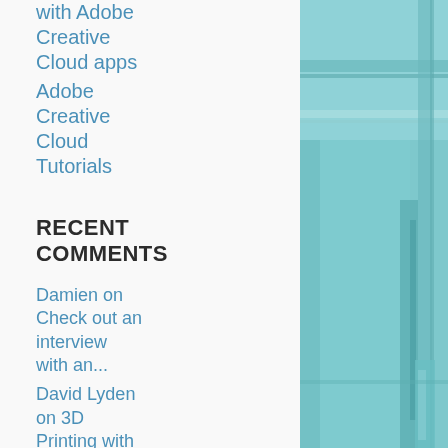with Adobe Creative Cloud apps
Adobe Creative Cloud Tutorials
RECENT COMMENTS
Damien on Check out an interview with an...
David Lyden on 3D Printing with ROBO 3D
Jesse
[Figure (photo): Interior photo of a room with teal/cyan tint showing ceiling pipes, walls and a door frame]